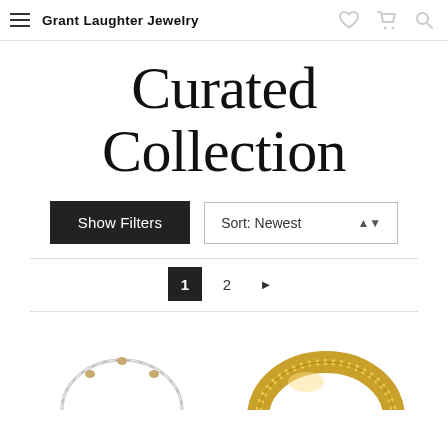Grant Laughter Jewelry
Curated Collection
Show Filters | Sort: Newest
1 2 ▶
[Figure (photo): Two jewelry bracelets: a silver thin bangle on the left and a gold wide band on the right, partially visible at the bottom of the page.]